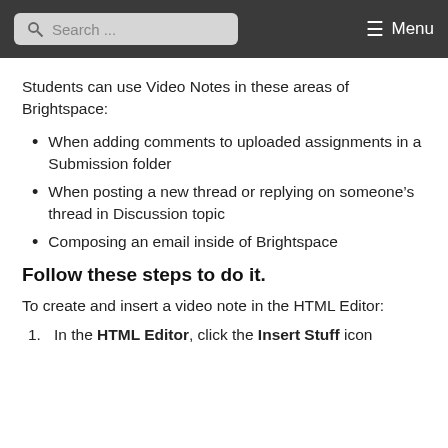Search ... Menu
Students can use Video Notes in these areas of Brightspace:
When adding comments to uploaded assignments in a Submission folder
When posting a new thread or replying on someone's thread in Discussion topic
Composing an email inside of Brightspace
Follow these steps to do it.
To create and insert a video note in the HTML Editor:
1. In the HTML Editor, click the Insert Stuff icon